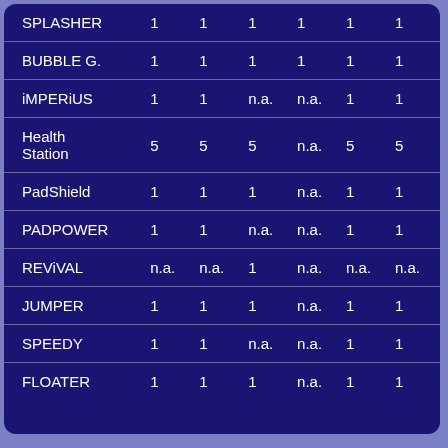|  | Col1 | Col2 | Col3 | Col4 | Col5 | Col6 |
| --- | --- | --- | --- | --- | --- | --- |
| SPLASHER | 1 | 1 | 1 | 1 | 1 | 1 |
| BUBBLE G. | 1 | 1 | 1 | 1 | 1 | 1 |
| iMPERiUS | 1 | 1 | n.a. | n.a. | 1 | 1 |
| Health Station | 5 | 5 | 5 | n.a. | 5 | 5 |
| PadShield | 1 | 1 | 1 | n.a. | 1 | 1 |
| PADPOWER | 1 | 1 | n.a. | n.a. | 1 | 1 |
| REViVAL | n.a. | n.a. | 1 | n.a. | n.a. | n.a. |
| JUMPER | 1 | 1 | 1 | n.a. | 1 | 1 |
| SPEEDY | 1 | 1 | n.a. | n.a. | 1 | 1 |
| FLOATER | 1 | 1 | 1 | n.a. | 1 | 1 |